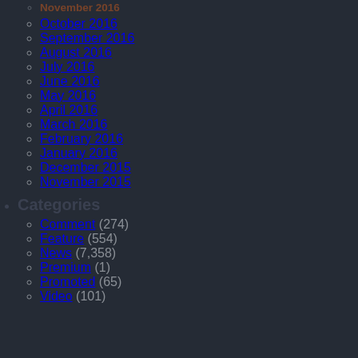November 2016 (partially visible)
October 2016
September 2016
August 2016
July 2016
June 2016
May 2016
April 2016
March 2016
February 2016
January 2016
December 2015
November 2015
Categories
Comment (274)
Feature (554)
News (7,358)
Premium (1)
Promoted (65)
Video (101)